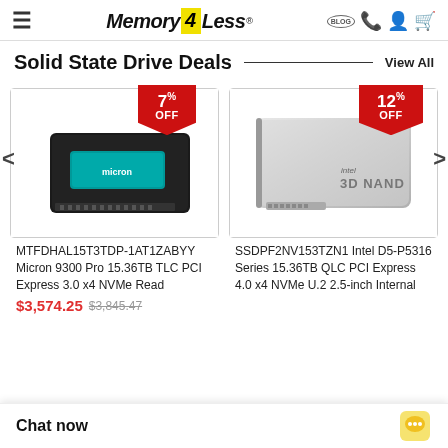[Figure (logo): Memory4Less logo with yellow diamond '4' shape, hamburger menu icon on left, blog/phone/account/cart icons on right]
Solid State Drive Deals
View All
[Figure (photo): Micron 9300 Pro SSD with black body and teal label, 7% OFF red badge]
MTFDHAL15T3TDP-1AT1ZABYY Micron 9300 Pro 15.36TB TLC PCI Express 3.0 x4 NVMe Read
$3,574.25  $3,845.47
[Figure (photo): Intel D5-P5316 SSD silver aluminum U.2 drive with 3D NAND label, 12% OFF red badge]
SSDPF2NV153TZN1 Intel D5-P5316 Series 15.36TB QLC PCI Express 4.0 x4 NVMe U.2 2.5-inch Internal
Chat now